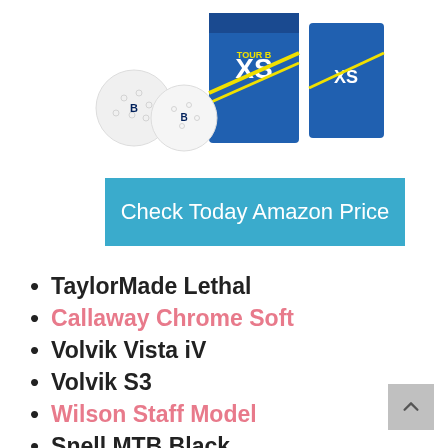[Figure (photo): Bridgestone TOUR B XS golf balls product image showing two white golf balls and blue/white product boxes with XS branding]
Check Today Amazon Price
TaylorMade Lethal
Callaway Chrome Soft
Volvik Vista iV
Volvik S3
Wilson Staff Model
Snell MTB Black
XXIO 2020 Eleven Golf Balls